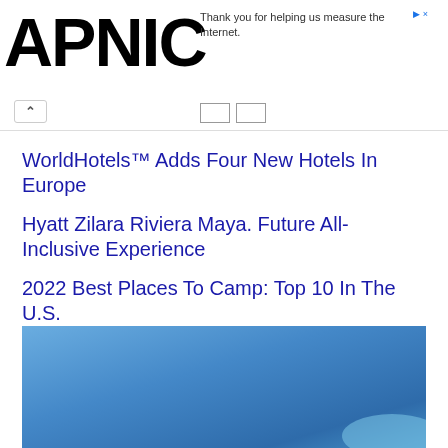APNIC
Thank you for helping us measure the Internet.
WorldHotels™ Adds Four New Hotels In Europe
Hyatt Zilara Riviera Maya. Future All-Inclusive Experience
2022 Best Places To Camp: Top 10 In The U.S.
Summer Fitness Tips From A Personal Trainer
[Figure (photo): Blue sky background image at bottom of page]